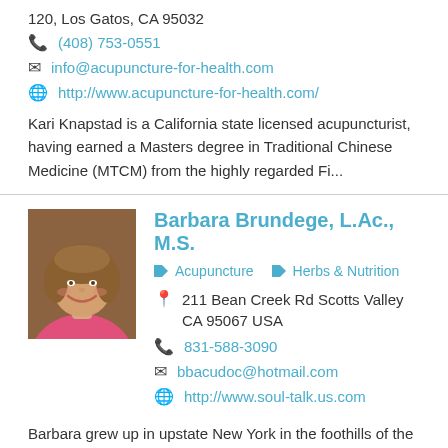120, Los Gatos, CA 95032
(408) 753-0551
info@acupuncture-for-health.com
http://www.acupuncture-for-health.com/
Kari Knapstad is a California state licensed acupuncturist, having earned a Masters degree in Traditional Chinese Medicine (MTCM) from the highly regarded Fi...
Barbara Brundege, L.Ac., M.S.
Acupuncture   Herbs & Nutrition
211 Bean Creek Rd Scotts Valley CA 95067 USA
831-588-3090
bbacudoc@hotmail.com
http://www.soul-talk.us.com
Barbara grew up in upstate New York in the foothills of the Catskill Mountains. Barbara